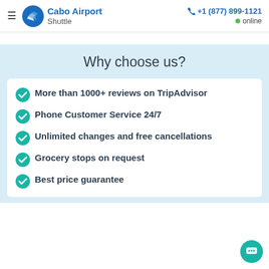Cabo Airport Shuttle | +1 (877) 899-1121 | online
Why choose us?
More than 1000+ reviews on TripAdvisor
Phone Customer Service 24/7
Unlimited changes and free cancellations
Grocery stops on request
Best price guarantee